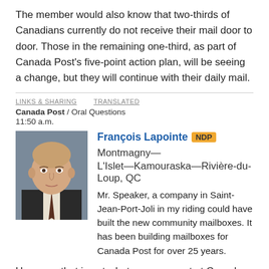The member would also know that two-thirds of Canadians currently do not receive their mail door to door. Those in the remaining one-third, as part of Canada Post's five-point action plan, will be seeing a change, but they will continue with their daily mail.
LINKS & SHARING   TRANSLATED
Canada Post / Oral Questions
11:50 a.m.
[Figure (photo): Headshot photo of François Lapointe, a bald man in a dark suit]
François Lapointe NDP Montmagny—L'Islet—Kamouraska—Rivière-du-Loup, QC
Mr. Speaker, a company in Saint-Jean-Port-Joli in my riding could have built the new community mailboxes. It has been building mailboxes for Canada Post for over 25 years.
However, that is not what management at Canada Post decided to do. Canadian manufacturers have not even been